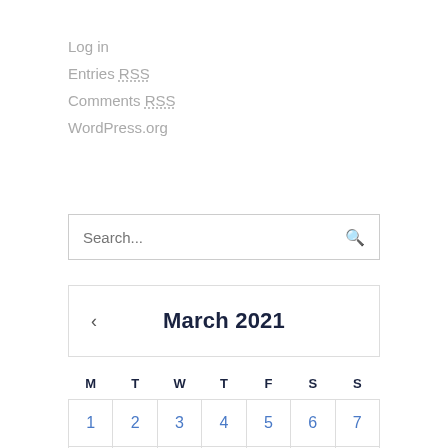Log in
Entries RSS
Comments RSS
WordPress.org
Search...
| M | T | W | T | F | S | S |
| --- | --- | --- | --- | --- | --- | --- |
| 1 | 2 | 3 | 4 | 5 | 6 | 7 |
|  |  |  |  |  |  |  |